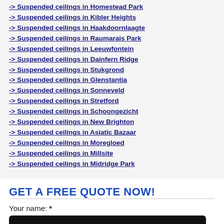-> Suspended ceilings in Homestead Park
-> Suspended ceilings in Kibler Heights
-> Suspended ceilings in Haakdoornlaagte
-> Suspended ceilings in Raumarais Park
-> Suspended ceilings in Leeuwfontein
-> Suspended ceilings in Dainfern Ridge
-> Suspended ceilings in Stukgrond
-> Suspended ceilings in Glenstantia
-> Suspended ceilings in Sonneveld
-> Suspended ceilings in Stretford
-> Suspended ceilings in Schoongezicht
-> Suspended ceilings in New Brighton
-> Suspended ceilings in Asiatic Bazaar
-> Suspended ceilings in Moregloed
-> Suspended ceilings in Millsite
-> Suspended ceilings in Midridge Park
GET A FREE QUOTE NOW!
Your name: *